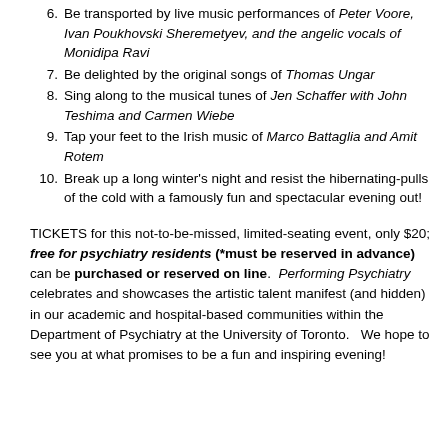6. Be transported by live music performances of Peter Voore, Ivan Poukhovski Sheremetyev, and the angelic vocals of Monidipa Ravi
7. Be delighted by the original songs of Thomas Ungar
8. Sing along to the musical tunes of Jen Schaffer with John Teshima and Carmen Wiebe
9. Tap your feet to the Irish music of Marco Battaglia and Amit Rotem
10. Break up a long winter's night and resist the hibernating-pulls of the cold with a famously fun and spectacular evening out!
TICKETS for this not-to-be-missed, limited-seating event, only $20; free for psychiatry residents (*must be reserved in advance) can be purchased or reserved on line. Performing Psychiatry celebrates and showcases the artistic talent manifest (and hidden) in our academic and hospital-based communities within the Department of Psychiatry at the University of Toronto. We hope to see you at what promises to be a fun and inspiring evening!